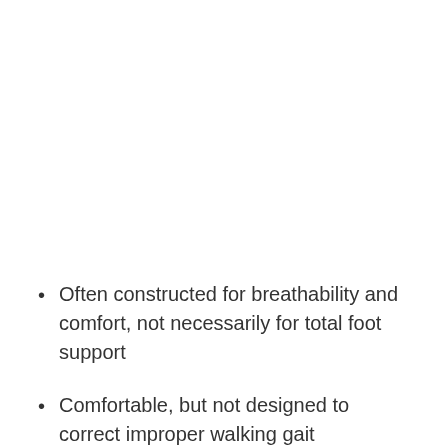Often constructed for breathability and comfort, not necessarily for total foot support
Comfortable, but not designed to correct improper walking gait